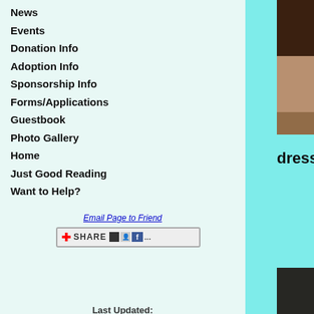News
Events
Donation Info
Adoption Info
Sponsorship Info
Forms/Applications
Guestbook
Photo Gallery
Home
Just Good Reading
Want to Help?
Email Page to Friend
[Figure (other): Share button widget with plus icon, SHARE text, and social media icons]
Last Updated:
9/1/2022 9:13 PM
© 2022 AARF Houston
[Figure (photo): Close-up photo of a puppy with pink harness on a patterned surface]
dress
w
ne
Ju
ho
is
[Figure (photo): Puppy sleeping curled up against a brown stuffed animal/teddy bear]